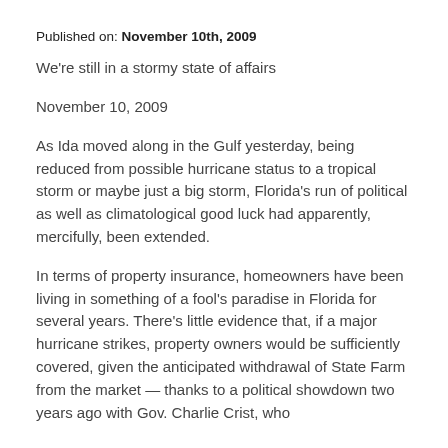Published on: November 10th, 2009
We're still in a stormy state of affairs
November 10, 2009
As Ida moved along in the Gulf yesterday, being reduced from possible hurricane status to a tropical storm or maybe just a big storm, Florida's run of political as well as climatological good luck had apparently, mercifully, been extended.
In terms of property insurance, homeowners have been living in something of a fool's paradise in Florida for several years. There's little evidence that, if a major hurricane strikes, property owners would be sufficiently covered, given the anticipated withdrawal of State Farm from the market — thanks to a political showdown two years ago with Gov. Charlie Crist, who